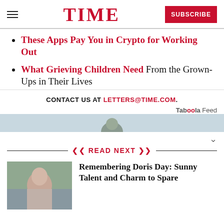TIME | SUBSCRIBE
These Apps Pay You in Crypto for Working Out
What Grieving Children Need From the Grown-Ups in Their Lives
CONTACT US AT LETTERS@TIME.COM.
Taboola Feed
READ NEXT
[Figure (photo): Thumbnail photo of a person, likely Doris Day, in a vintage photograph]
Remembering Doris Day: Sunny Talent and Charm to Spare